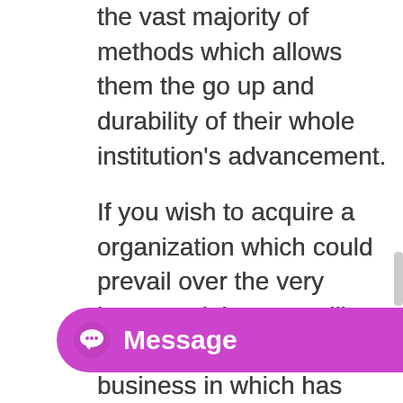the vast majority of methods which allows them the go up and durability of their whole institution's advancement. If you wish to acquire a organization which could prevail over the very internet globe, you will need to choose the business in which has actually conquered that. Along by using all the work about, you already know, jogging your online business, will be certainly a superb opportunity if you're taking on virtually all of your own advertising and marketing for your personal, as well. With reality from just some sort of couple bucks each 1 week organisations will combine the main ability with video technologies in their very own gift promotion and advertisements tactics. Not necessarily all organizations would need to g… very same leads generation a… possibly in the event your enterprise owner may
[Figure (other): Purple/magenta 'Message' button overlay with chat bubble icon and bold white 'Message' text]